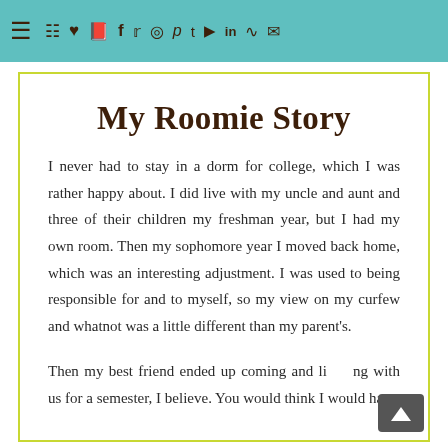Navigation bar with hamburger menu and social/navigation icons
My Roomie Story
I never had to stay in a dorm for college, which I was rather happy about. I did live with my uncle and aunt and three of their children my freshman year, but I had my own room. Then my sophomore year I moved back home, which was an interesting adjustment. I was used to being responsible for and to myself, so my view on my curfew and whatnot was a little different than my parent's.
Then my best friend ended up coming and living with us for a semester, I believe. You would think I would have...